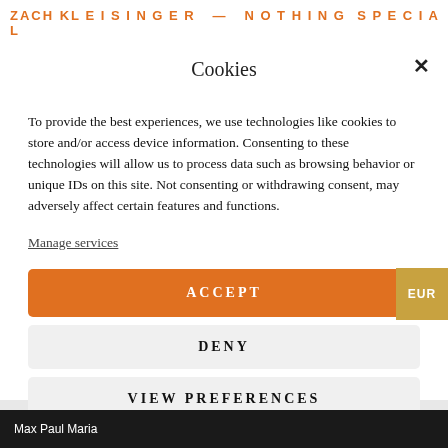ZACH KLEISINGER — NOTHING SPECIAL
Cookies
To provide the best experiences, we use technologies like cookies to store and/or access device information. Consenting to these technologies will allow us to process data such as browsing behavior or unique IDs on this site. Not consenting or withdrawing consent, may adversely affect certain features and functions.
Manage services
ACCEPT
DENY
VIEW PREFERENCES
Cookie Policy   Privacy Policy   Imprint
Max Paul Maria